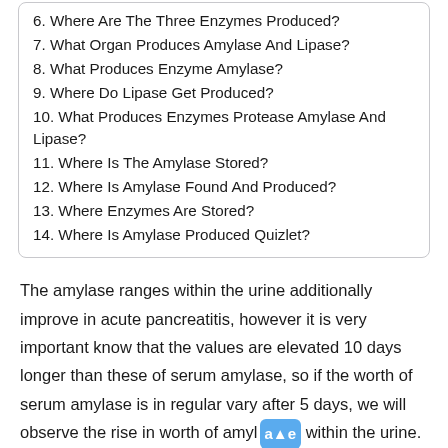6. Where Are The Three Enzymes Produced?
7. What Organ Produces Amylase And Lipase?
8. What Produces Enzyme Amylase?
9. Where Do Lipase Get Produced?
10. What Produces Enzymes Protease Amylase And Lipase?
11. Where Is The Amylase Stored?
12. Where Is Amylase Found And Produced?
13. Where Enzymes Are Stored?
14. Where Is Amylase Produced Quizlet?
The amylase ranges within the urine additionally improve in acute pancreatitis, however it is very important know that the values are elevated 10 days longer than these of serum amylase, so if the worth of serum amylase is in regular vary after 5 days, we will observe the rise in worth of amylase within the urine.